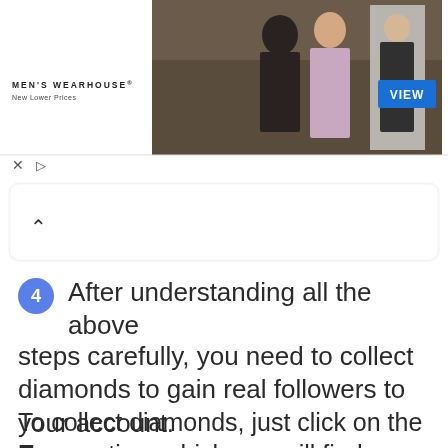[Figure (screenshot): Men's Wearhouse advertisement banner showing a couple in formalwear and a man in a suit, with a VIEW button]
[Figure (screenshot): A collapsed dropdown card UI element with an up-arrow (chevron)]
4  After understanding all the above steps carefully, you need to collect diamonds to gain real followers to your account.
To collect diamonds, just click on the Earn option, which you will find below.
And the below-mentioned page will